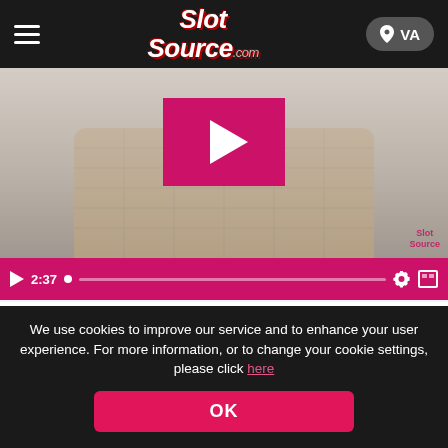SlotSource.com — VA
[Figure (screenshot): Video player showing a man in a plaid shirt with a pink play button overlay. Duration shown as 2:37. Pink progress/control bar at bottom.]
Animal Madness Slot Paytable, Layout, and Symbols
Animal Madness is a Cluster Pays slot with a 5x5 reel layout—
We use cookies to improve our service and to enhance your user experience. For more information, or to change your cookie settings, please click here
OK